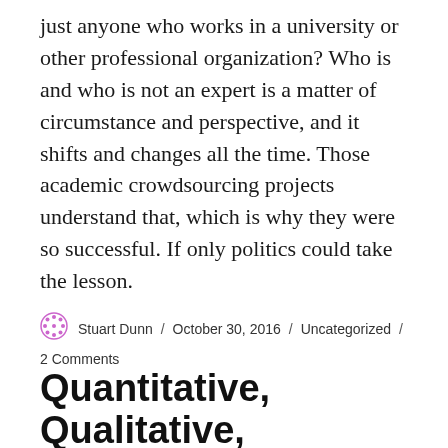just anyone who works in a university or other professional organization? Who is and who is not an expert is a matter of circumstance and perspective, and it shifts and changes all the time. Those academic crowdsourcing projects understand that, which is why they were so successful. If only politics could take the lesson.
Stuart Dunn / October 30, 2016 / Uncategorized / 2 Comments
Quantitative, Qualitative, Digital, Research